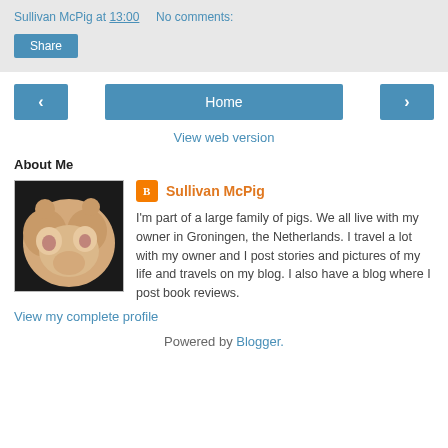Sullivan McPig at 13:00    No comments:
Share
‹
Home
›
View web version
About Me
[Figure (photo): Profile photo of a stuffed pig toy]
Sullivan McPig
I'm part of a large family of pigs. We all live with my owner in Groningen, the Netherlands. I travel a lot with my owner and I post stories and pictures of my life and travels on my blog. I also have a blog where I post book reviews.
View my complete profile
Powered by Blogger.